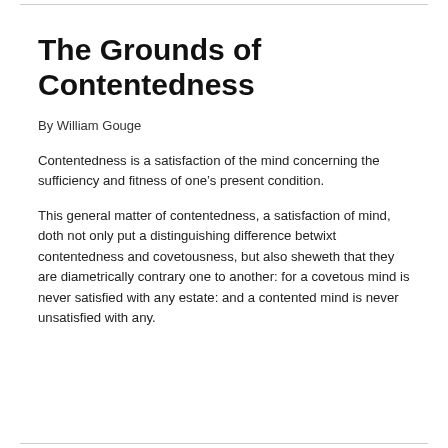The Grounds of Contentedness
By William Gouge
Contentedness is a satisfaction of the mind concerning the sufficiency and fitness of one’s present condition.
This general matter of contentedness, a satisfaction of mind, doth not only put a distinguishing difference betwixt contentedness and covetousness, but also sheweth that they are diametrically contrary one to another: for a covetous mind is never satisfied with any estate: and a contented mind is never unsatisfied with any.